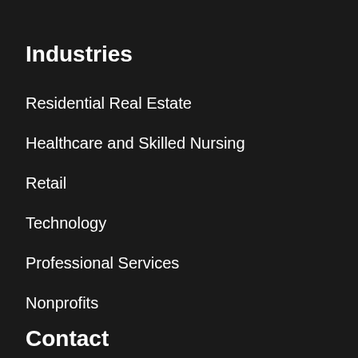Industries
Residential Real Estate
Healthcare and Skilled Nursing
Retail
Technology
Professional Services
Nonprofits
Contact